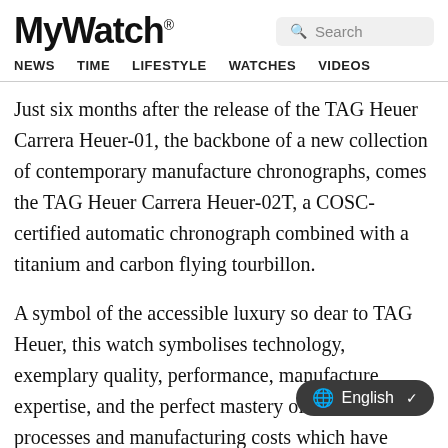MyWatch® — Search — NEWS TIME LIFESTYLE WATCHES VIDEOS
Just six months after the release of the TAG Heuer Carrera Heuer-01, the backbone of a new collection of contemporary manufacture chronographs, comes the TAG Heuer Carrera Heuer-02T, a COSC-certified automatic chronograph combined with a titanium and carbon flying tourbillon.
A symbol of the accessible luxury so dear to TAG Heuer, this watch symbolises technology, exemplary quality, performance, manufacture expertise, and the perfect mastery of industrial processes and manufacturing costs which have m… COSC automatic chronograph with Tourbillon